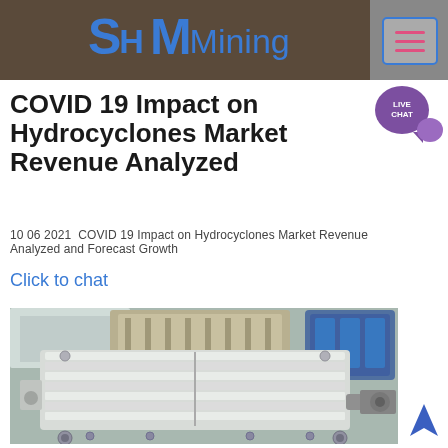SH MMining
COVID 19 Impact on Hydrocyclones Market Revenue Analyzed
10 06 2021  COVID 19 Impact on Hydrocyclones Market Revenue Analyzed and Forecast Growth
Click to chat
[Figure (photo): Industrial mechanical equipment - a large white painted metal gearbox or coupling device in a factory setting, viewed from above at an angle.]